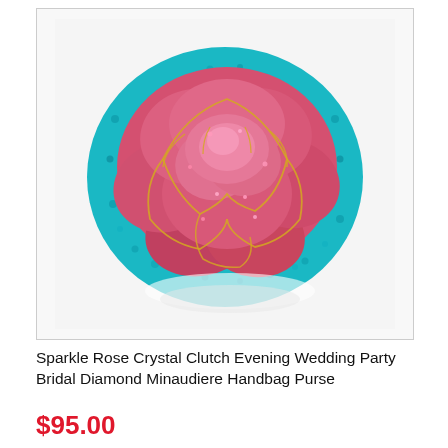[Figure (photo): A sparkle crystal clutch evening bag shaped like a rose flower. The bag is covered in pink/red crystals forming rose petals, surrounded by teal/turquoise crystals as the outer shell, with gold-tone metal outlines defining the petals. The background is white.]
Sparkle Rose Crystal Clutch Evening Wedding Party Bridal Diamond Minaudiere Handbag Purse
$95.00